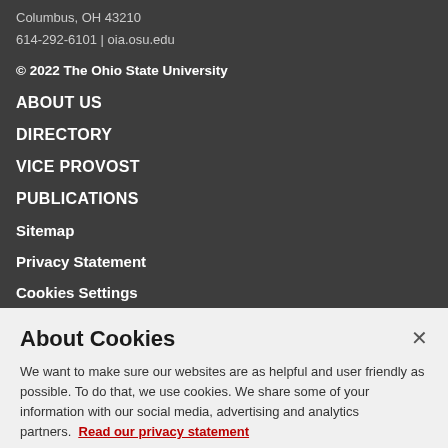Columbus, OH 43210
614-292-6101 | oia.osu.edu
© 2022 The Ohio State University
ABOUT US
DIRECTORY
VICE PROVOST
PUBLICATIONS
Sitemap
Privacy Statement
Cookies Settings
About Cookies
We want to make sure our websites are as helpful and user friendly as possible. To do that, we use cookies. We share some of your information with our social media, advertising and analytics partners.  Read our privacy statement